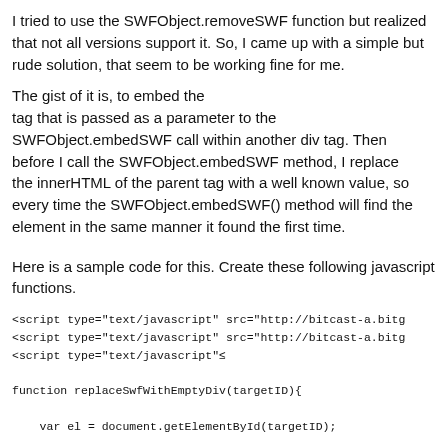I tried to use the SWFObject.removeSWF function but realized that not all versions support it. So, I came up with a simple but rude solution, that seem to be working fine for me.
The gist of it is, to embed the tag that is passed as a parameter to the SWFObject.embedSWF call within another div tag. Then before I call the SWFObject.embedSWF method, I replace the innerHTML of the parent tag with a well known value, so every time the SWFObject.embedSWF() method will find the element in the same manner it found the first time.
Here is a sample code for this. Create these following javascript functions.
<script type="text/javascript" src="http://bitcast-a.bitg
<script type="text/javascript" src="http://bitcast-a.bitg
<script type="text/javascript"å

function replaceSwfWithEmptyDiv(targetID){

    var el = document.getElementById(targetID);